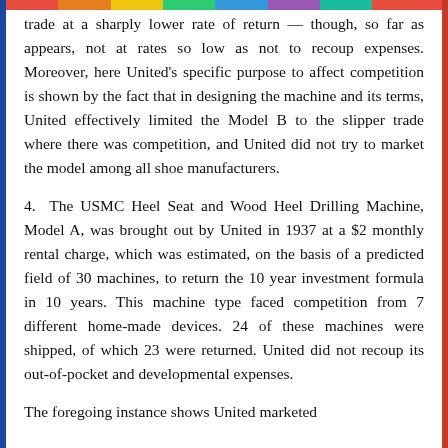trade at a sharply lower rate of return — though, so far as appears, not at rates so low as not to recoup expenses. Moreover, here United's specific purpose to affect competition is shown by the fact that in designing the machine and its terms, United effectively limited the Model B to the slipper trade where there was competition, and United did not try to market the model among all shoe manufacturers.
4. The USMC Heel Seat and Wood Heel Drilling Machine, Model A, was brought out by United in 1937 at a $2 monthly rental charge, which was estimated, on the basis of a predicted field of 30 machines, to return the 10 year investment formula in 10 years. This machine type faced competition from 7 different home-made devices. 24 of these machines were shipped, of which 23 were returned. United did not recoup its out-of-pocket and developmental expenses.
The foregoing instance shows United marketed